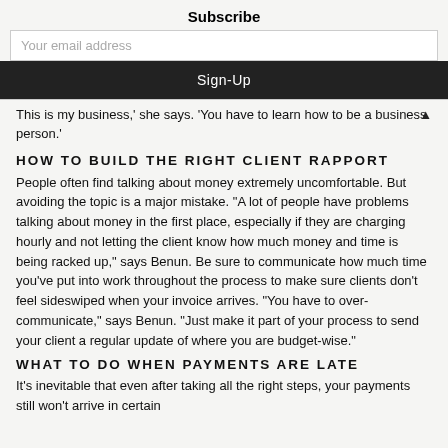Subscribe
Your email address
Sign-Up
This is my business,' she says. 'You have to learn how to be a business person.'
HOW TO BUILD THE RIGHT CLIENT RAPPORT
People often find talking about money extremely uncomfortable. But avoiding the topic is a major mistake. "A lot of people have problems talking about money in the first place, especially if they are charging hourly and not letting the client know how much money and time is being racked up," says Benun. Be sure to communicate how much time you've put into work throughout the process to make sure clients don't feel sideswiped when your invoice arrives. "You have to over-communicate," says Benun. "Just make it part of your process to send your client a regular update of where you are budget-wise."
WHAT TO DO WHEN PAYMENTS ARE LATE
It's inevitable that even after taking all the right steps, your payments still won't arrive in certain...